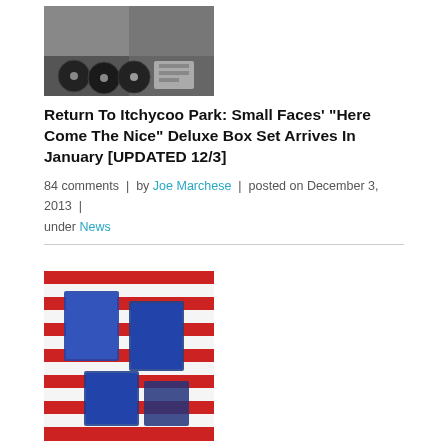[Figure (photo): Thumbnail image of Small Faces box set with vinyl records and memorabilia]
Return To Itchycoo Park: Small Faces' "Here Come The Nice" Deluxe Box Set Arrives In January [UPDATED 12/3]
84 comments | by Joe Marchese | posted on December 3, 2013 | under News
[Figure (photo): Thumbnail image of Beatles U.S. Albums Box Set with red and white American flag themed packaging]
British Invasion! The Beatles Unveil "The U.S. Albums" Box Set in January
69 comments | by Joe Marchese | posted on December 12, 2013 | under News
Out of Their Heads: Stones Plan Mono Box Set